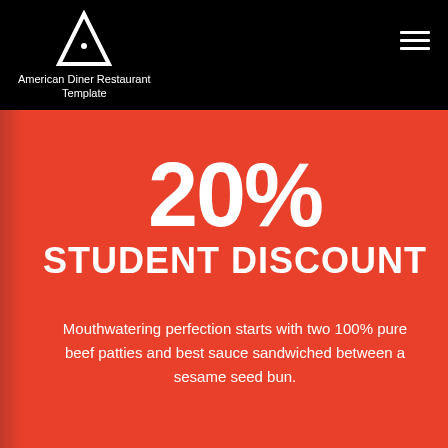American Diner Restaurant Template
20%
STUDENT DISCOUNT
Mouthwatering perfection starts with two 100% pure beef patties and best sauce sandwiched between a sesame seed bun.